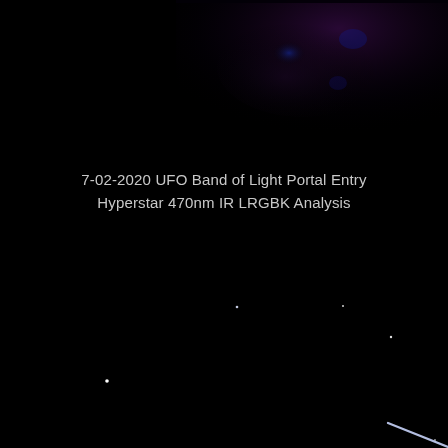[Figure (photo): Astronomical image of a dark night sky with scattered faint stars and a faint colored band/portal region visible at the top of the image. A bright streak (possibly a satellite or meteor trail) is visible in the lower right corner. The image is predominantly black with small white point sources (stars) distributed across the field. The top portion shows a faint reddish-purple nebulous or artifact region.]
7-02-2020 UFO Band of Light Portal Entry
Hyperstar 470nm IR LRGBK Analysis